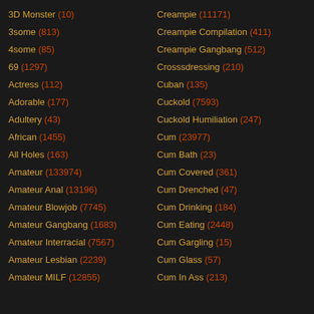3D Monster (10)
Creampie (11171)
3some (813)
Creampie Compilation (411)
4some (85)
Creampie Gangbang (512)
69 (1297)
Crosssdressing (210)
Actress (112)
Cuban (135)
Adorable (177)
Cuckold (7593)
Adultery (43)
Cuckold Humiliation (247)
African (1455)
Cum (23977)
All Holes (163)
Cum Bath (23)
Amateur (133974)
Cum Covered (361)
Amateur Anal (13196)
Cum Drenched (47)
Amateur Blowjob (7745)
Cum Drinking (184)
Amateur Gangbang (1683)
Cum Eating (2448)
Amateur Interracial (7567)
Cum Gargling (15)
Amateur Lesbian (2239)
Cum Glass (57)
Amateur MILF (12855)
Cum In Ass (213)